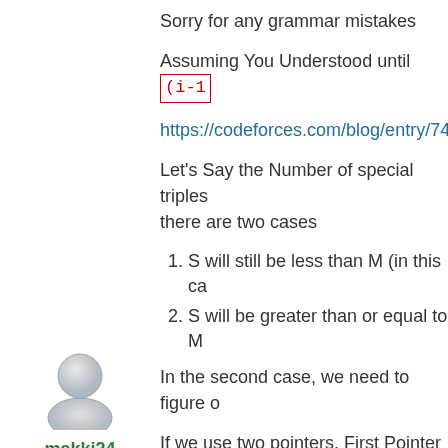Sorry for any grammar mistakes
Assuming You Understood until (i-1)
https://codeforces.com/blog/entry/7445
Let's Say the Number of special triples there are two cases
1. S will still be less than M (in this ca
2. S will be greater than or equal to M
In the second case, we need to figure o
If we use two pointers, First Pointer as
last number added to the list
the right pointer. The sum of the two el So will use this number as the next nu
[Figure (illustration): User avatar icon — generic grey silhouette person icon]
makki24
At this point, we achieved the desire